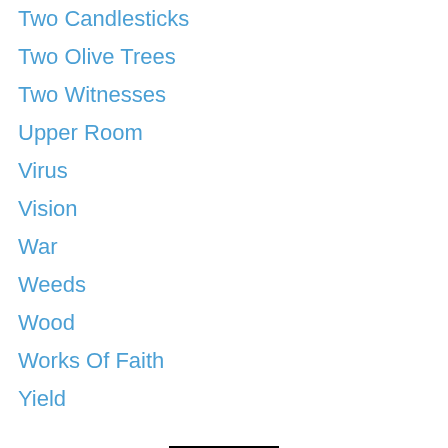Two Candlesticks
Two Olive Trees
Two Witnesses
Upper Room
Virus
Vision
War
Weeds
Wood
Works Of Faith
Yield
00031121
Version: Mobile | Web
Created with Weebly  Get the App
00031122  00031123